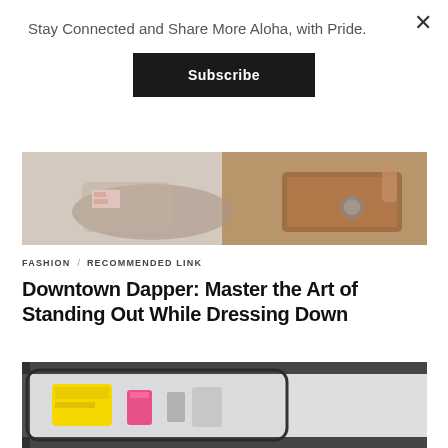Stay Connected and Share More Aloha, with Pride.
Subscribe
[Figure (photo): Close-up photo showing fashion items including shoes and a brown leather bag on a light background]
FASHION / RECOMMENDED LINK
Downtown Dapper: Master the Art of Standing Out While Dressing Down
[Figure (photo): Close-up photo of cosmetics or beauty items in a clear case including a yellow box and pink item]